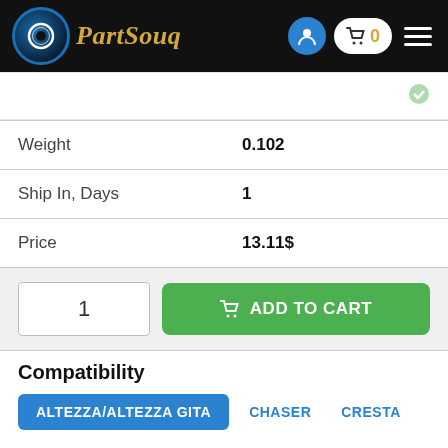PartSouq
|  |  |
| --- | --- |
| Weight | 0.102 |
| Ship In, Days | 1 |
| Price | 13.11$ |
1  ADD TO CART
Compatibility
ALTEZZA/ALTEZZA GITA  CHASER  CRESTA  CROWN  CROWN/CROWN MAJESTA  MARK 2
| Name | ALTEZZA/ALTEZZA GITA |
| --- | --- |